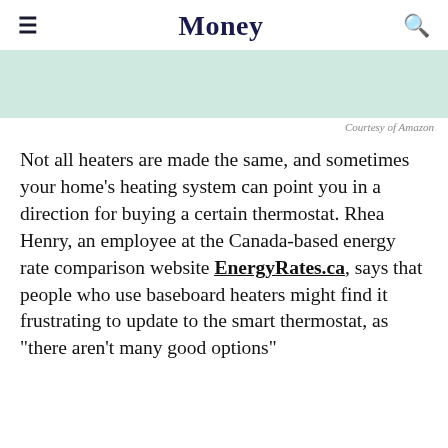Money
[Figure (photo): Partially visible product image on light green/mint background]
Courtesy of Amazon
Not all heaters are made the same, and sometimes your home's heating system can point you in a direction for buying a certain thermostat. Rhea Henry, an employee at the Canada-based energy rate comparison website EnergyRates.ca, says that people who use baseboard heaters might find it frustrating to update to the smart thermostat, as "there aren't many good options"